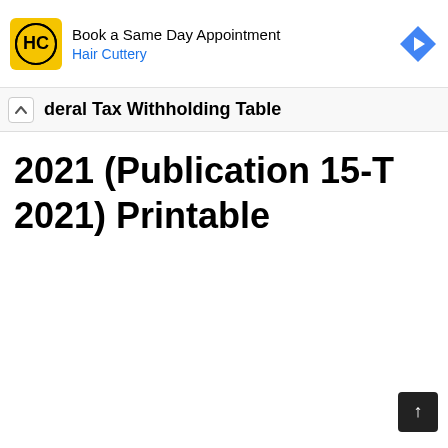[Figure (other): Hair Cuttery advertisement banner with yellow logo, 'Book a Same Day Appointment' text, and blue navigation arrow icon]
deral Tax Withholding Table
2021 (Publication 15-T 2021) Printable